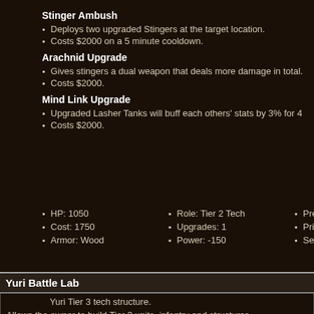Stinger Ambush
Deploys two upgraded Stingers at the target location.
Costs $2000 on a 5 minute cooldown.
Arachnid Upgrade
Gives stingers a dual weapon that deals more damage in total.
Costs $2000.
Mind Link Upgrade
Upgraded Lasher Tanks will buff each others' stats by 3% for 4
Costs $2000.
HP: 1050
Cost: 1750
Armor: Wood
Role: Tier 2 Tech
Upgrades: 1
Power: -150
Prerequisite: Radar, B
Primary Weapon: N/A
Secondary Weapon: N
Yuri Battle Lab
Yuri Tier 3 tech structure.
Allows the owner to build Tier 3 units, infantry and structures.